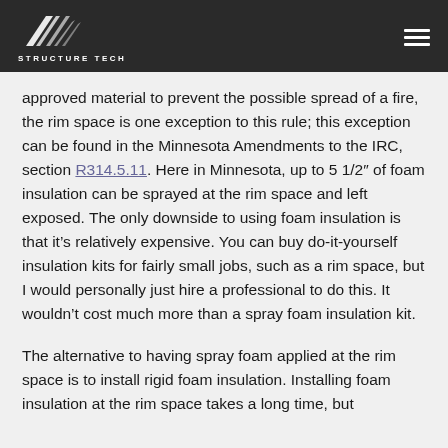STRUCTURE TECH
approved material to prevent the possible spread of a fire, the rim space is one exception to this rule; this exception can be found in the Minnesota Amendments to the IRC, section R314.5.11. Here in Minnesota, up to 5 1/2" of foam insulation can be sprayed at the rim space and left exposed. The only downside to using foam insulation is that it's relatively expensive. You can buy do-it-yourself insulation kits for fairly small jobs, such as a rim space, but I would personally just hire a professional to do this. It wouldn't cost much more than a spray foam insulation kit.
The alternative to having spray foam applied at the rim space is to install rigid foam insulation. Installing foam insulation at the rim space takes a long time, but